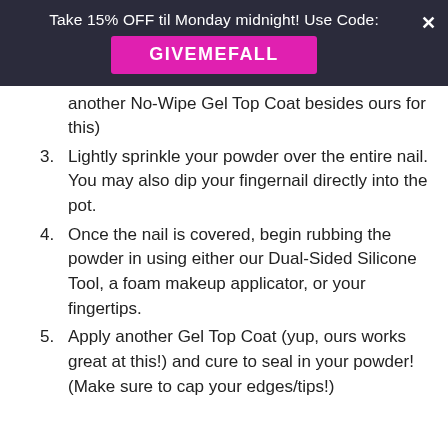Take 15% OFF til Monday midnight! Use Code: GIVEMFALL
another No-Wipe Gel Top Coat besides ours for this)
3. Lightly sprinkle your powder over the entire nail. You may also dip your fingernail directly into the pot.
4. Once the nail is covered, begin rubbing the powder in using either our Dual-Sided Silicone Tool, a foam makeup applicator, or your fingertips.
5. Apply another Gel Top Coat (yup, ours works great at this!) and cure to seal in your powder! (Make sure to cap your edges/tips!)
CUSTOMER REVIEWS
HOW TO STAMP YOUR NAILS